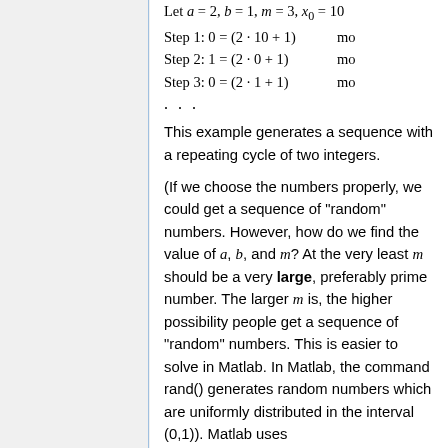Let a = 2, b = 1, m = 3, x_0 = 10
Step 1: 0 = (2 · 10 + 1)   mo
Step 2: 1 = (2 · 0 + 1)    mo
Step 3: 0 = (2 · 1 + 1)    mo
...
This example generates a sequence with a repeating cycle of two integers.
(If we choose the numbers properly, we could get a sequence of "random" numbers. However, how do we find the value of a, b, and m? At the very least m should be a very large, preferably prime number. The larger m is, the higher possibility people get a sequence of "random" numbers. This is easier to solve in Matlab. In Matlab, the command rand() generates random numbers which are uniformly distributed in the interval (0,1)). Matlab uses
a = 7^5, b = 0, m = 2^31 - 1